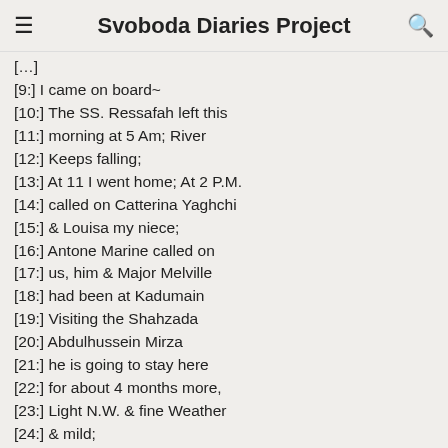Svoboda Diaries Project
[…]
[9:] I came on board~
[10:] The SS. Ressafah left this
[11:] morning at 5 Am; River
[12:] Keeps falling;
[13:] At 11 I went home; At 2 P.M.
[14:] called on Catterina Yaghchi
[15:] & Louisa my niece;
[16:] Antone Marine called on
[17:] us, him & Major Melville
[18:] had been at Kadumain
[19:] Visiting the Shahzada
[20:] Abdulhussein Mirza
[21:] he is going to stay here
[22:] for about 4 months more,
[23:] Light N.W. & fine Weather
[24:] & mild;
[pg: 20]